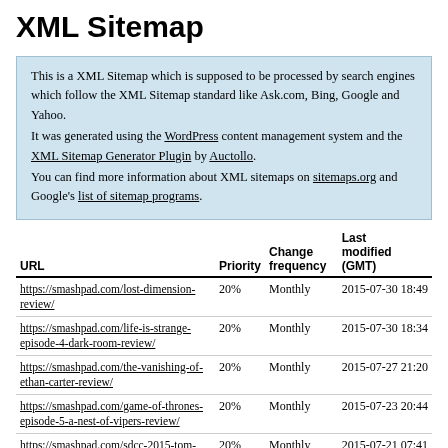XML Sitemap
This is a XML Sitemap which is supposed to be processed by search engines which follow the XML Sitemap standard like Ask.com, Bing, Google and Yahoo.
It was generated using the WordPress content management system and the XML Sitemap Generator Plugin by Auctollo.
You can find more information about XML sitemaps on sitemaps.org and Google's list of sitemap programs.
| URL | Priority | Change frequency | Last modified (GMT) |
| --- | --- | --- | --- |
| https://smashpad.com/lost-dimension-review/ | 20% | Monthly | 2015-07-30 18:49 |
| https://smashpad.com/life-is-strange-episode-4-dark-room-review/ | 20% | Monthly | 2015-07-30 18:34 |
| https://smashpad.com/the-vanishing-of-ethan-carter-review/ | 20% | Monthly | 2015-07-27 21:20 |
| https://smashpad.com/game-of-thrones-episode-5-a-nest-of-vipers-review/ | 20% | Monthly | 2015-07-23 20:44 |
| https://smashpad.com/sdcc-2015-tom-clancys-the-division-hands-on/ | 20% | Monthly | 2015-07-21 07:41 |
| https://smashpad.com/tembo-the-badass-elephant-review/ | 20% | Monthly | 2015-07-19 01:50 |
| https://smashpad.com/we-saved-shenmue-... | 20% | Monthly | 2015-07-18 02:32 |